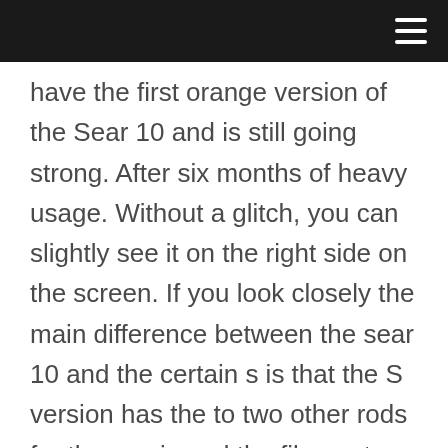have the first orange version of the Sear 10 and is still going strong. After six months of heavy usage. Without a glitch, you can slightly see it on the right side on the screen. If you look closely the main difference between the sear 10 and the certain s is that the S version has the to two other rods for the z-axis and the filament run out the text on my life, and now let's have a look inside the control box. I already like what I see here. All the wires are nicely isolated and the power